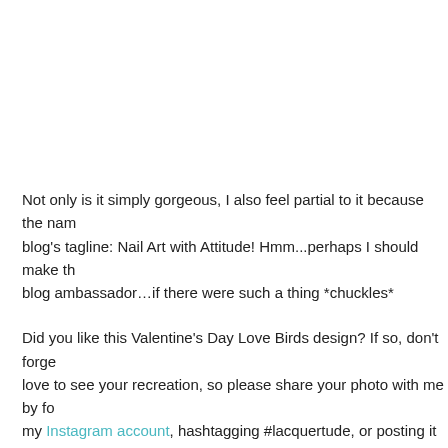Not only is it simply gorgeous, I also feel partial to it because the name echoes my blog's tagline: Nail Art with Attitude! Hmm...perhaps I should make this blog ambassador…if there were such a thing *chuckles*
Did you like this Valentine's Day Love Birds design? If so, don't forget to try it! I'd love to see your recreation, so please share your photo with me by following and tagging my Instagram account, hashtagging #lacquertude, or posting it on my...
Thank you so much for reading and have a great day! ♥♥♥